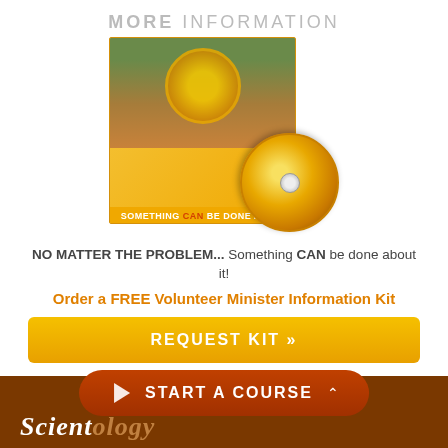MORE INFORMATION
[Figure (photo): DVD box and disc for 'Something CAN Be Done About It' Volunteer Ministers kit, yellow packaging with crowd photos]
NO MATTER THE PROBLEM... Something CAN be done about it!
Order a FREE Volunteer Minister Information Kit
REQUEST KIT »
START A COURSE
SCIENTOLOGY